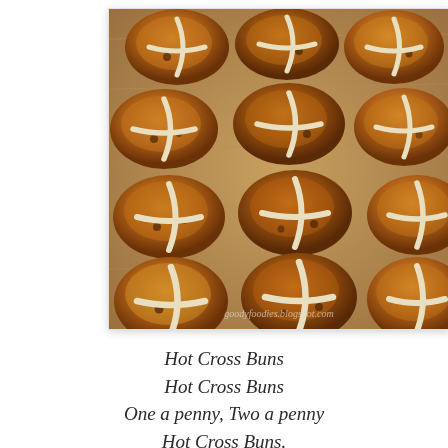[Figure (photo): Overhead view of hot cross buns arranged on a wooden tray, golden-brown with white cross piping on top, with watermark text 'goodyfoodies.blogspot.com']
Hot Cross Buns
Hot Cross Buns
One a penny, Two a penny
Hot Cross Buns.